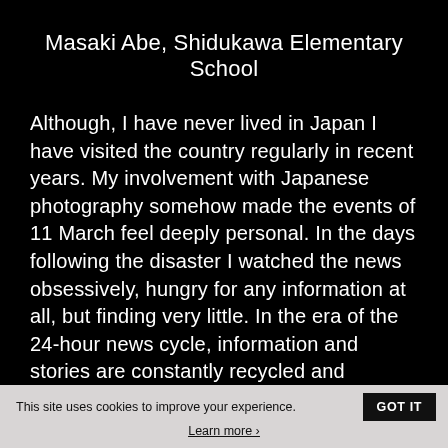Masaki Abe, Shidukawa Elementary School
Although, I have never lived in Japan I have visited the country regularly in recent years. My involvement with Japanese photography somehow made the events of 11 March feel deeply personal. In the days following the disaster I watched the news obsessively, hungry for any information at all, but finding very little. In the era of the 24-hour news cycle, information and stories are constantly recycled and updated, as the same images, the same tiny scraps of information get repeated over and over every hour. It was not until I heard the personal stories, of friends—a dear friend trapped in a bullet train in a freezing, pitch-black tunnel for over 24 hours and then travelling for two days to get
This site uses cookies to improve your experience. GOT IT Learn more ›